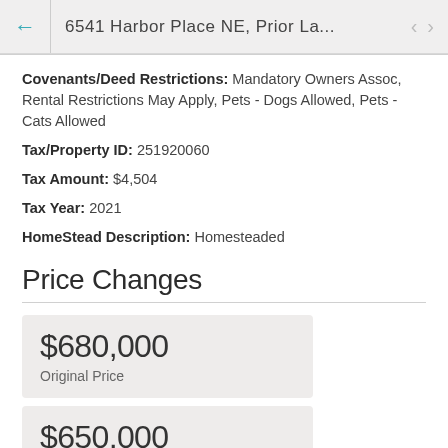6541 Harbor Place NE, Prior La...
Covenants/Deed Restrictions: Mandatory Owners Assoc, Rental Restrictions May Apply, Pets - Dogs Allowed, Pets - Cats Allowed
Tax/Property ID: 251920060
Tax Amount: $4,504
Tax Year: 2021
HomeStead Description: Homesteaded
Price Changes
$680,000
Original Price
$650,000